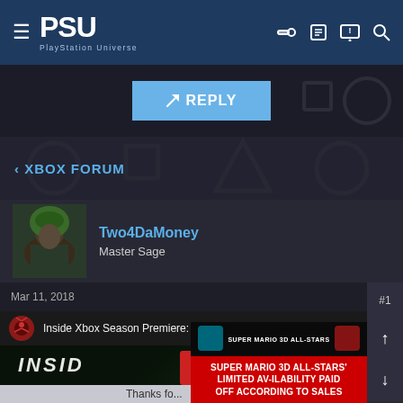PSU PlayStation Universe
✎ REPLY
< XBOX FORUM
Two4DaMoney
Master Sage
Mar 11, 2018    #1
[Figure (screenshot): YouTube video embed showing 'Inside Xbox Season Premiere: Sea of...' with red circular logo and dark background. Overlaid advertisement: 'SUPER MARIO 3D ALL-STARS' LIMITED AVAILABILITY PAID OFF ACCORDING TO SALES']
Thanks fo...